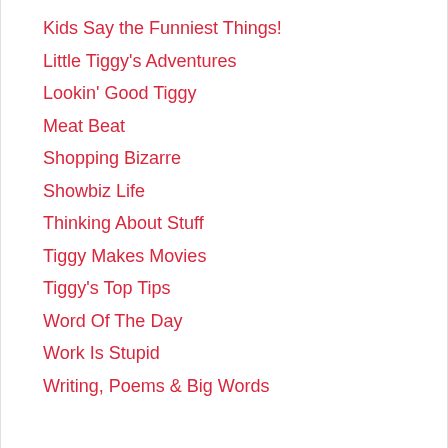Kids Say the Funniest Things!
Little Tiggy's Adventures
Lookin' Good Tiggy
Meat Beat
Shopping Bizarre
Showbiz Life
Thinking About Stuff
Tiggy Makes Movies
Tiggy's Top Tips
Word Of The Day
Work Is Stupid
Writing, Poems & Big Words